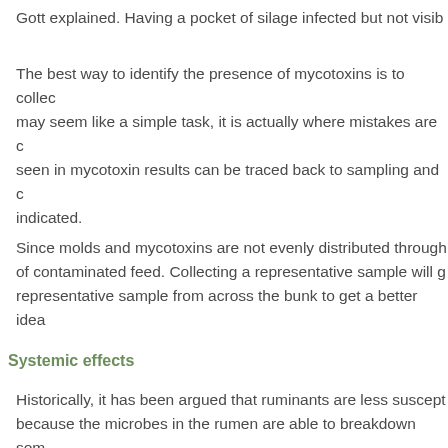Gott explained. Having a pocket of silage infected but not visib…
The best way to identify the presence of mycotoxins is to collec… may seem like a simple task, it is actually where mistakes are c… seen in mycotoxin results can be traced back to sampling and c… indicated.
Since molds and mycotoxins are not evenly distributed through… of contaminated feed. Collecting a representative sample will g… representative sample from across the bunk to get a better idea…
Systemic effects
Historically, it has been argued that ruminants are less suscept… because the microbes in the rumen are able to breakdown som… some extent,” Gott stated. “It varies toxin to toxin. Some toxins…